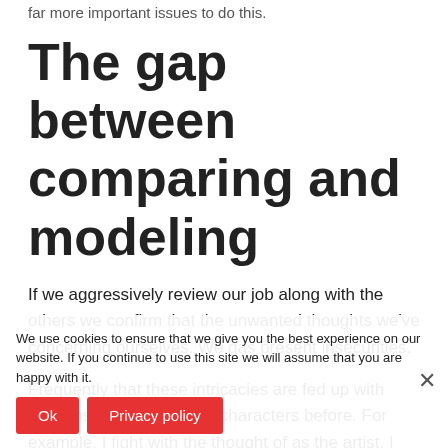far more important issues to do this.
The gap between comparing and modeling
If we aggressively review our job along with the others we confirm that the unwanted thoughts we've concerning ourselves. We gas present insecurities.
Frequently that these intricacies are fed up with opinions from jurisdiction characters before. For example, I fight with the thought of as the artist, I was not very good at my job in faculty, and also a recent mentor created me believe drawing colored pens is childish.
We use cookies to ensure that we give you the best experience on our website. If you continue to use this site we will assume that you are happy with it.